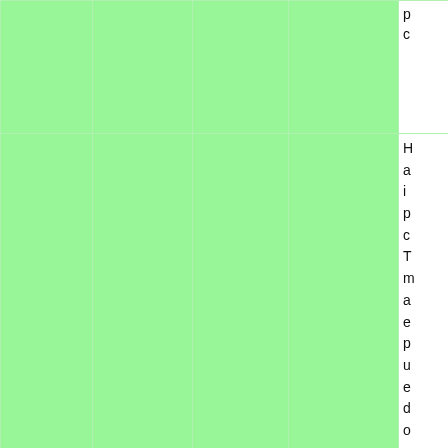|  |  |  |  |  |
| --- | --- | --- | --- | --- |
|  |  |  |  | p
c |
| Herbs | 61 Herbs | 51,921 | 51,921 | H
a
i
p
c
T
m
a
e
p
u
e
d
o |